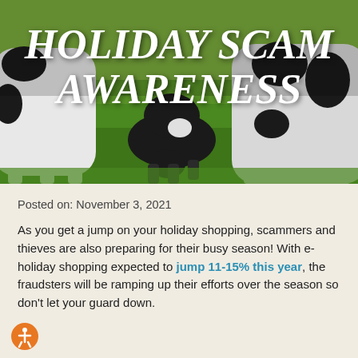[Figure (photo): Photograph of dairy cows (black and white Holstein cows) grazing on bright green grass, used as hero image background]
HOLIDAY SCAM AWARENESS
Posted on: November 3, 2021
As you get a jump on your holiday shopping, scammers and thieves are also preparing for their busy season! With e-holiday shopping expected to jump 11-15% this year, the fraudsters will be ramping up their efforts over the season so don't let your guard down.